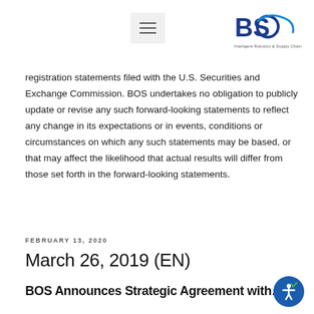BOS logo and navigation menu
registration statements filed with the U.S. Securities and Exchange Commission. BOS undertakes no obligation to publicly update or revise any such forward-looking statements to reflect any change in its expectations or in events, conditions or circumstances on which any such statements may be based, or that may affect the likelihood that actual results will differ from those set forth in the forward-looking statements.
FEBRUARY 13, 2020
March 26, 2019 (EN)
BOS Announces Strategic Agreement with...